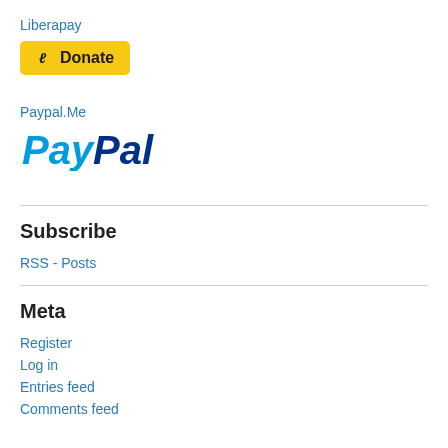Liberapay
[Figure (other): Liberapay Donate button with lightning bolt icon]
Paypal.Me
[Figure (logo): PayPal logo in blue italic bold text]
Subscribe
RSS - Posts
Meta
Register
Log in
Entries feed
Comments feed